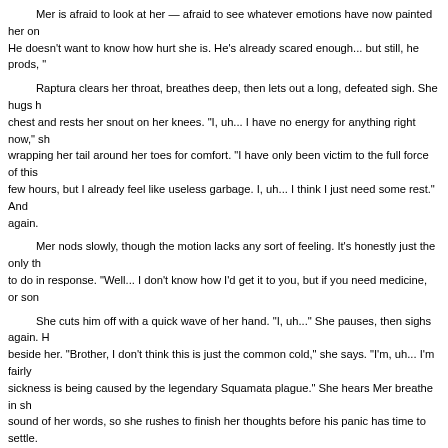Mer is afraid to look at her — afraid to see whatever emotions have now painted her once proud face. He doesn't want to know how hurt she is. He's already scared enough... but still, he prods, "
Raptura clears her throat, breathes deep, then lets out a long, defeated sigh. She hugs her knees to her chest and rests her snout on her knees. "I, uh... I have no energy for anything right now," she says, wrapping her tail around her toes for comfort. "I have only been victim to the full force of this illness for a few hours, but I already feel like useless garbage. I, uh... I think I just need some rest." And she coughs again.
Mer nods slowly, though the motion lacks any sort of feeling. It's honestly just the only thing he can think to do in response. "Well... I don't know how I'd get it to you, but if you need medicine, or som
She cuts him off with a quick wave of her hand. "I, uh..." She pauses, then sighs again. He comes to sit beside her. "Brother, I don't think this is just the common cold," she says. "I'm, uh... I'm fairly certain my sickness is being caused by the legendary Squamata plague." She hears Mer breathe in sharply at the sound of her words, so she rushes to finish her thoughts before his panic has time to settle. "But I know about that, then I know how to cure it, and I will be absolutely fine," she says sternly, though her certainty in her words is juxtaposed by another aggressive cough. She forces herself to finish speaking. "I just need to rest up a bit to gain some energy, and then go harvest bogberries for the cure."
Mer pouts, though this time it's earnest — not just to be melodramatic. "That's... an incre task," he says.
She rolls her eyes again. She hates that he's implying that she's not strong enough to complete such a chore. What's worse? She hates that he's probably right... "It's... fine, brother," she says sob
She doesn't sound convinced.
Mer is about to retort, unnerved by her sudden admittance of weakness, but she starts talking again before he can. "You said you know another dark sorcerer, right?" she asks, looking up to him with bleary eyes. "Hopefully someone who knows more than just how to read a book and perform some basic conjuration spells?" She says this as she plays a bit with the smoke before her.
Mer purses his lips before speaking. "Yeah, I know someone," he eventually says, though his tone is beyond unenthusiastic. "He knows practically everything there is to know about dark magic. He's an actual genius."
Raptura gives Mer a sarcastic sideways glance. "Then why didn't you contact him first?"